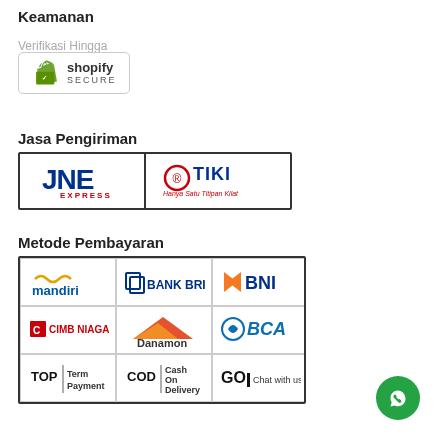Keamanan
Verifikasi Hingga
[Figure (logo): Shopify Secure badge logo]
Jasa Pengiriman
[Figure (logo): JNE Express and TIKI courier logos]
Metode Pembayaran
[Figure (infographic): Payment methods grid: Mandiri, Bank BRI, BNI, CIMB Niaga, Danamon, BCA, TOP Term Payment, COD Cash On Delivery, GO Chat with us]
[Figure (logo): WhatsApp chat button]